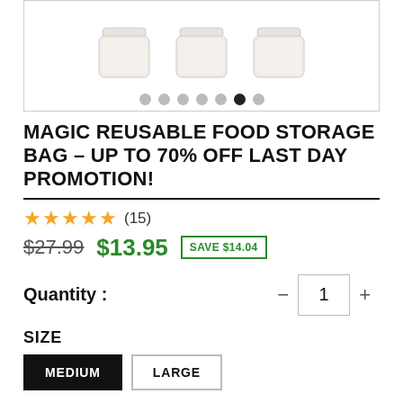[Figure (photo): Product image showing three glass food storage jars with white lids, with image carousel dots below indicating 7 images (6th dot active)]
MAGIC REUSABLE FOOD STORAGE BAG – UP TO 70% OFF LAST DAY PROMOTION!
★★★★★ (15)
$27.99  $13.95  SAVE $14.04
Quantity : 1
SIZE
MEDIUM  LARGE
DEALS